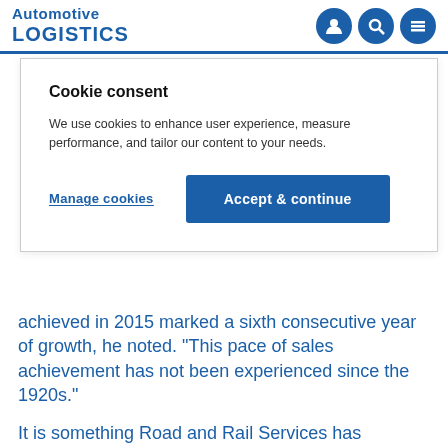Automotive LOGISTICS
Cookie consent
We use cookies to enhance user experience, measure performance, and tailor our content to your needs.
Manage cookies | Accept & continue
achieved in 2015 marked a sixth consecutive year of growth, he noted. “This pace of sales achievement has not been experienced since the 1920s.”
It is something Road and Rail Services has experienced in its automotive handling business according to Manns.
However, whether the automotive sector offers the potential to offset the declines seen in other sectors served by rail